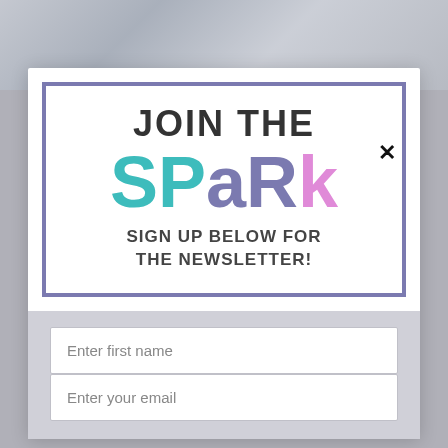[Figure (screenshot): Blurred background photo of a laptop and desk items]
✕
[Figure (infographic): JOIN THE SPARK sign up below for the newsletter! — colorful newsletter signup card with purple border, teal and purple 'SPARK' lettering]
Enter first name
Enter your email